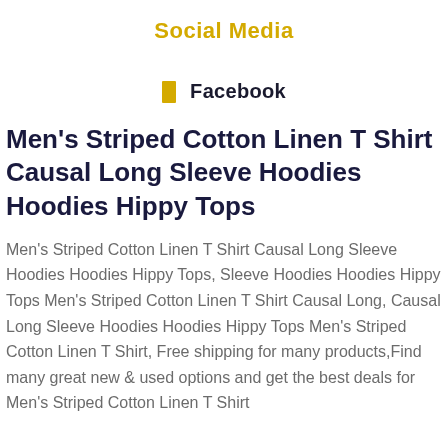Social Media
Facebook
Men's Striped Cotton Linen T Shirt Causal Long Sleeve Hoodies Hoodies Hippy Tops
Men's Striped Cotton Linen T Shirt Causal Long Sleeve Hoodies Hoodies Hippy Tops, Sleeve Hoodies Hoodies Hippy Tops Men's Striped Cotton Linen T Shirt Causal Long, Causal Long Sleeve Hoodies Hoodies Hippy Tops Men's Striped Cotton Linen T Shirt, Free shipping for many products,Find many great new & used options and get the best deals for Men's Striped Cotton Linen T Shirt